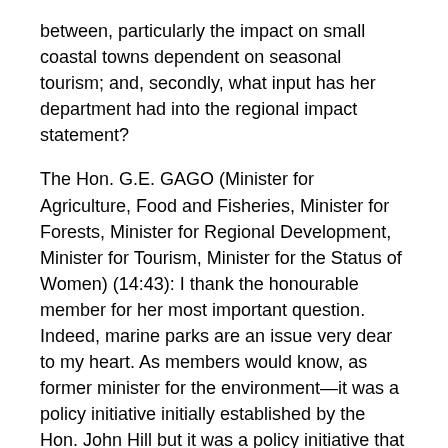between, particularly the impact on small coastal towns dependent on seasonal tourism; and, secondly, what input has her department had into the regional impact statement?
The Hon. G.E. GAGO (Minister for Agriculture, Food and Fisheries, Minister for Forests, Minister for Regional Development, Minister for Tourism, Minister for the Status of Women) (14:43): I thank the honourable member for her most important question. Indeed, marine parks are an issue very dear to my heart. As members would know, as former minister for the environment—it was a policy initiative initially established by the Hon. John Hill but it was a policy initiative that I had a key part in implementing—I was very proud to have had a part in that very early work.
As we know, in 2009 there were 19 multiple-use marine parks that were created along the state's coastline in keeping with the Marine Parks Act 2007 and the South Australian representative system of marine protective areas. At this stage only the parks' outer boundaries are in place which encompasses around 44 per cent of the